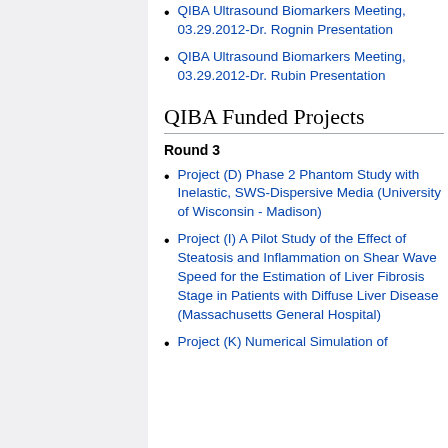QIBA Ultrasound Biomarkers Meeting, 03.29.2012-Dr. Rognin Presentation
QIBA Ultrasound Biomarkers Meeting, 03.29.2012-Dr. Rubin Presentation
QIBA Funded Projects
Round 3
Project (D) Phase 2 Phantom Study with Inelastic, SWS-Dispersive Media (University of Wisconsin - Madison)
Project (I) A Pilot Study of the Effect of Steatosis and Inflammation on Shear Wave Speed for the Estimation of Liver Fibrosis Stage in Patients with Diffuse Liver Disease (Massachusetts General Hospital)
Project (K) Numerical Simulation of